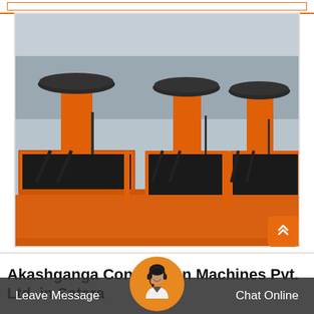[Figure (photo): Industrial orange construction machines (flotation/mixing machines) with pedestal bases lined up in a warehouse or factory floor. Machines are orange with black components.]
Akashganga Construction Machines Pvt. Ltd. in Satara
Leave Message
Chat Online